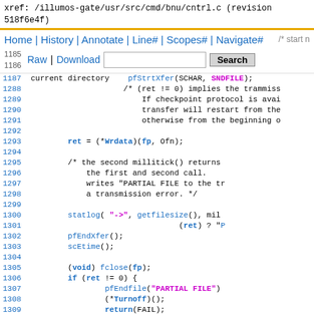xref: /illumos-gate/usr/src/cmd/bnu/cntrl.c (revision 518f6e4f)
[Figure (screenshot): Code viewer navigation bar with links: Home | History | Annotate | Line# | Scopes# | Navigate# and Raw | Download with search input and Search button]
Source code listing of cntrl.c lines 1285-1310 showing C code with pfStrtXfer, Wrdata, statlog, pfEndXfer, scEtime, fclose, pfEndfile, Turnoff, return statements